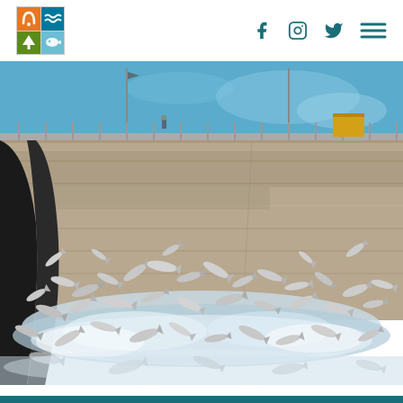Navigation header with organization logo (four-square icon grid with nature symbols) and social media icons (Facebook, Instagram, Twitter) and hamburger menu
[Figure (photo): Photograph showing a large concrete dam structure viewed from below with a blue sky background. In the lower portion of the image, hundreds of silver fish (likely Asian carp or similar invasive species) are leaping out of churning white water at the base of the dam spillway.]